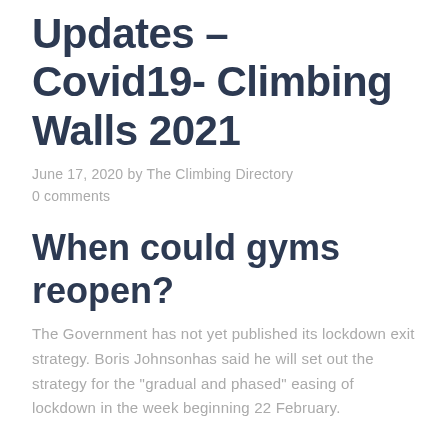Updates – Covid19- Climbing Walls 2021
June 17, 2020 by The Climbing Directory
0 comments
When could gyms reopen?
The Government has not yet published its lockdown exit strategy. Boris Johnsonhas said he will set out the strategy for the “gradual and phased” easing of lockdown in the week beginning 22 February.